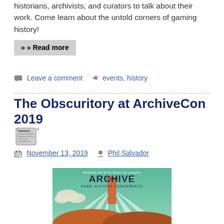historians, archivists, and curators to talk about their work. Come learn about the untold corners of gaming history!
» Read more
Leave a comment  events, history
The Obscuritory at ArchiveCon 2019
November 13, 2019   Phil Salvador
[Figure (illustration): ArchiveCon 2019 conference poster: 'MAGFest and MICA Game Lab presents ARCHIVE GAME HISTORY CONFERENCE' with retro art of a tower emitting light beams over volcanic landscape]